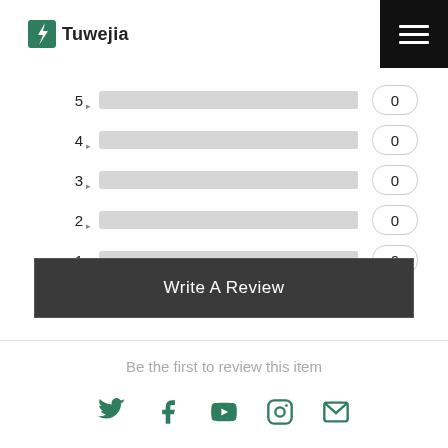[Figure (logo): Tuwejia logo with green lightning bolt icon and bold text 'Tuwejia']
[Figure (bar-chart): Star ratings distribution]
Write A Review
Be the first to review this item
[Figure (infographic): Social media icons: Twitter, Facebook, YouTube, Instagram, Email]